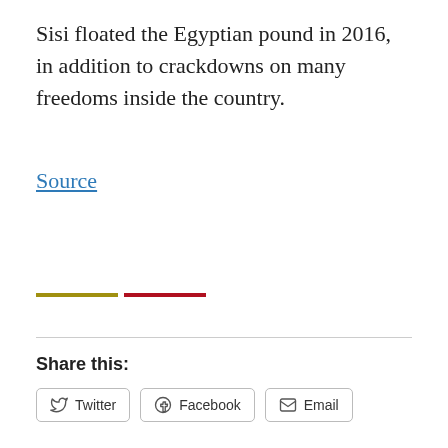Sisi floated the Egyptian pound in 2016, in addition to crackdowns on many freedoms inside the country.
Source
[Figure (other): Decorative colored horizontal rule with olive/yellow left segment and dark red right segment]
Share this:
[Figure (other): Social sharing buttons: Twitter, Facebook, Email]
[Figure (other): Like button]
Be the first to like this.
July 12, 2018
Leave a Reply